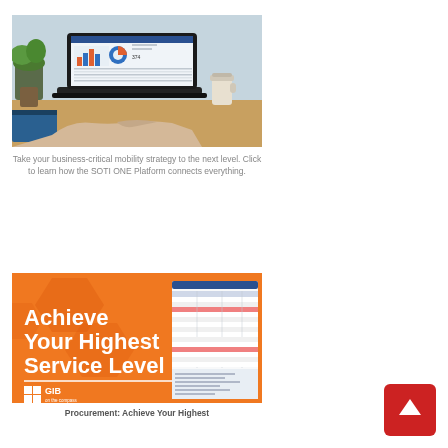[Figure (photo): Person's hands typing on a laptop computer showing a dashboard with charts and data tables. There is a green plant and a coffee cup in the background on a wooden desk.]
Take your business-critical mobility strategy to the next level. Click to learn how the SOTI ONE Platform connects everything.
[Figure (illustration): Orange branded banner for GIB (on the compass) showing text 'Achieve Your Highest Service Level' with GIB logo on the left and a screenshot of a procurement software interface on the right.]
Procurement: Achieve Your Highest